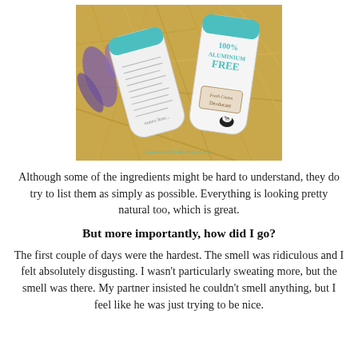[Figure (photo): Two natural deodorant sticks resting on straw/hay with purple lavender flowers in background. One stick shows ingredient list on back, the other shows '100% Aluminium Free' and 'Fresh Cream Deodorant' branding with a cow logo. Watermark reads 'www.sweetaholic-beauty.com']
Although some of the ingredients might be hard to understand, they do try to list them as simply as possible. Everything is looking pretty natural too, which is great.
But more importantly, how did I go?
The first couple of days were the hardest. The smell was ridiculous and I felt absolutely disgusting. I wasn't particularly sweating more, but the smell was there. My partner insisted he couldn't smell anything, but I feel like he was just trying to be nice.